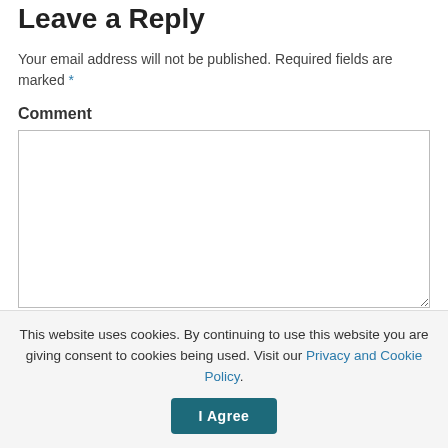Leave a Reply
Your email address will not be published. Required fields are marked *
Comment
[Comment textarea box]
Name *
This website uses cookies. By continuing to use this website you are giving consent to cookies being used. Visit our Privacy and Cookie Policy.